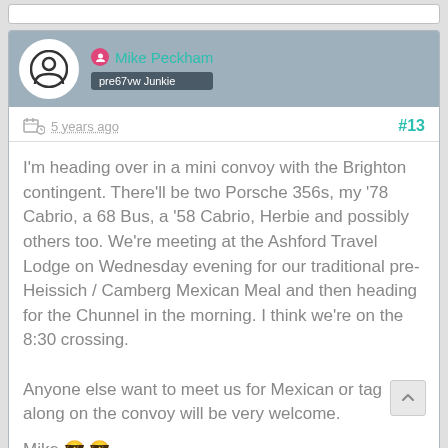Mike Peckham
pre67vw Junkie
5 years ago  #13
I'm heading over in a mini convoy with the Brighton contingent. There'll be two Porsche 356s, my '78 Cabrio, a 68 Bus, a '58 Cabrio, Herbie and possibly others too. We're meeting at the Ashford Travel Lodge on Wednesday evening for our traditional pre-Heissich / Camberg Mexican Meal and then heading for the Chunnel in the morning. I think we're on the 8:30 crossing.

Anyone else want to meet us for Mexican or tag along on the convoy will be very welcome.

Mike 😎 😎